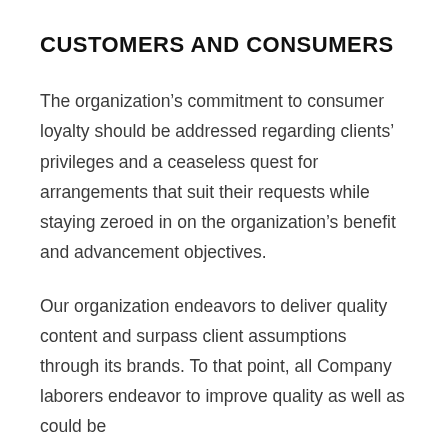CUSTOMERS AND CONSUMERS
The organization’s commitment to consumer loyalty should be addressed regarding clients’ privileges and a ceaseless quest for arrangements that suit their requests while staying zeroed in on the organization’s benefit and advancement objectives.
Our organization endeavors to deliver quality content and surpass client assumptions through its brands. To that point, all Company laborers endeavor to improve quality as well as could be